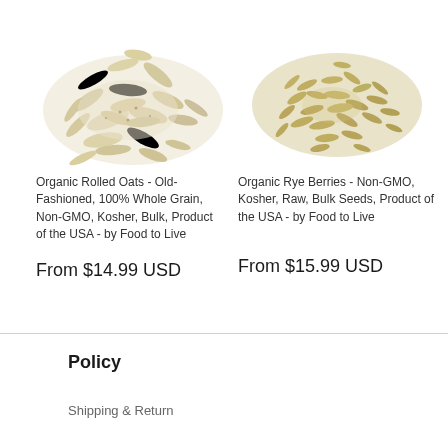[Figure (photo): Pile of organic rolled oats (old-fashioned flattened oat flakes) on white background]
[Figure (photo): Pile of organic rye berries (whole grain seeds) on white background]
Organic Rolled Oats - Old-Fashioned, 100% Whole Grain, Non-GMO, Kosher, Bulk, Product of the USA - by Food to Live
Organic Rye Berries - Non-GMO, Kosher, Raw, Bulk Seeds, Product of the USA - by Food to Live
From $14.99 USD
From $15.99 USD
Policy
Shipping & Return
Terms & Conditions